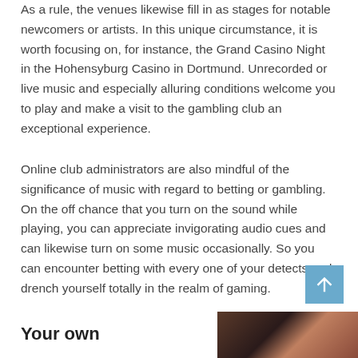As a rule, the venues likewise fill in as stages for notable newcomers or artists. In this unique circumstance, it is worth focusing on, for instance, the Grand Casino Night in the Hohensyburg Casino in Dortmund. Unrecorded or live music and especially alluring conditions welcome you to play and make a visit to the gambling club an exceptional experience.
Online club administrators are also mindful of the significance of music with regard to betting or gambling. On the off chance that you turn on the sound while playing, you can appreciate invigorating audio cues and can likewise turn on some music occasionally. So you can encounter betting with every one of your detects and drench yourself totally in the realm of gaming.
Your own
[Figure (photo): Partial photo of a person, dark tones, cropped at bottom of page]